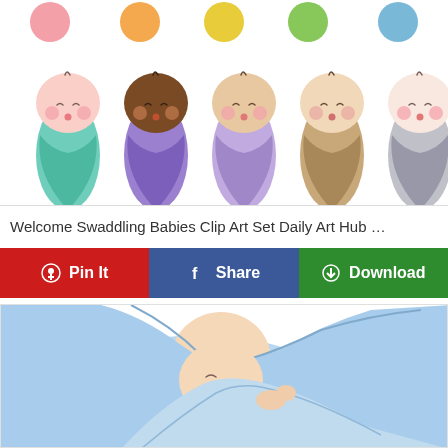[Figure (illustration): Clip art set of 5 swaddled babies with different skin tones (pink, dark brown, tan, beige, pale) wrapped in colored blankets (teal, purple, light purple, tan, gray), shown with eyes closed and small hair tufts. Above are 5 colored circles (pink, orange, yellow, green, blue).]
Welcome Swaddling Babies Clip Art Set Daily Art Hub …
[Figure (infographic): Three social sharing buttons: red 'Pin It' button with Pinterest logo, blue 'Share' button with Facebook logo, green 'Download' button with download icon.]
[Figure (illustration): Illustration of a swaddled baby wrapped in a light blue blanket, partially visible showing face and bundled body from an angled view.]